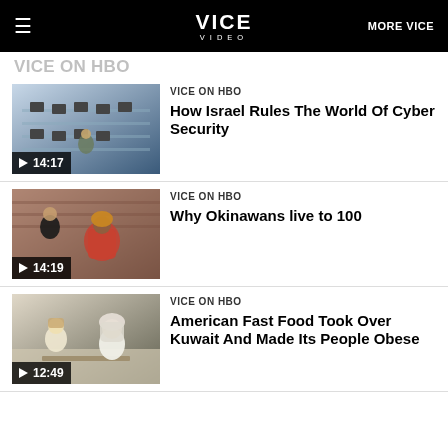VICE VIDEO | MORE VICE
VICE ON HBO
How Israel Rules The World Of Cyber Security
[Figure (screenshot): Video thumbnail showing military personnel at computer workstations, with play button and duration 14:17]
VICE ON HBO
Why Okinawans live to 100
[Figure (screenshot): Video thumbnail showing two people, one in colorful traditional dress, with play button and duration 14:19]
VICE ON HBO
American Fast Food Took Over Kuwait And Made Its People Obese
[Figure (screenshot): Video thumbnail showing two people in a fast food restaurant setting, with play button and duration 12:49]